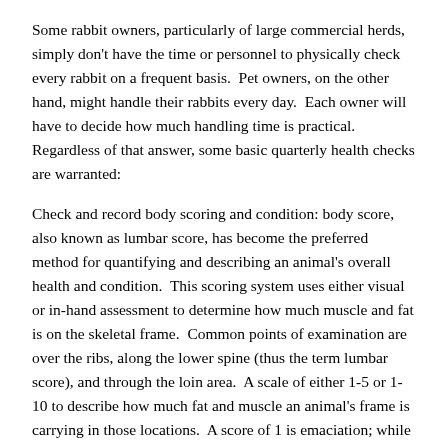Some rabbit owners, particularly of large commercial herds, simply don't have the time or personnel to physically check every rabbit on a frequent basis.  Pet owners, on the other hand, might handle their rabbits every day.  Each owner will have to decide how much handling time is practical.  Regardless of that answer, some basic quarterly health checks are warranted:
Check and record body scoring and condition: body score, also known as lumbar score, has become the preferred method for quantifying and describing an animal's overall health and condition.  This scoring system uses either visual or in-hand assessment to determine how much muscle and fat is on the skeletal frame.  Common points of examination are over the ribs, along the lower spine (thus the term lumbar score), and through the loin area.  A scale of either 1-5 or 1-10 to describe how much fat and muscle an animal's frame is carrying in those locations.  A score of 1 is emaciation; while a score of 5 or 10 is extreme obesity.  The middle of the range, whether the range is 1-5 or 1-10, is considered ideal.  So for instance, a rabbit with a lumbar score of 3 on the scale of 1-5, would have a nice amount of muscle alongside the spine such that the spine itself could only barely be felt.  The hips wouldn't feel bony, the ribs would have some fat on them, but the loin would be well-defined. And a rabbit would have a nice either 5 or 10 is